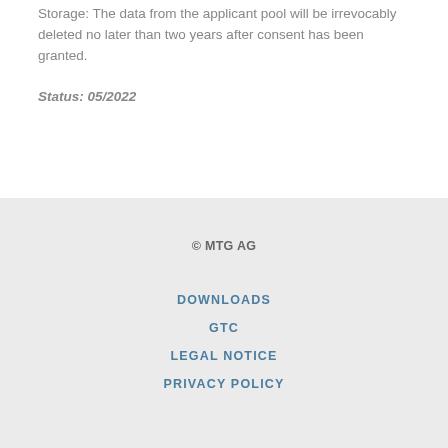Storage: The data from the applicant pool will be irrevocably deleted no later than two years after consent has been granted.
Status: 05/2022
© MTG AG
DOWNLOADS
GTC
LEGAL NOTICE
PRIVACY POLICY